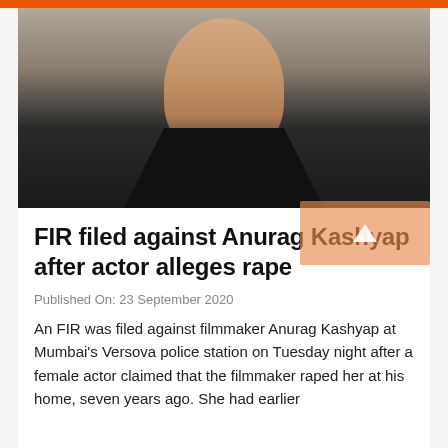[Figure (photo): Portrait photo of a bearded man wearing a black V-neck shirt, against a neutral background.]
FIR filed against Anurag Kashyap after actor alleges rape
Published On: 23 September 2020
An FIR was filed against filmmaker Anurag Kashyap at Mumbai's Versova police station on Tuesday night after a female actor claimed that the filmmaker raped her at his home, seven years ago. She had earlier